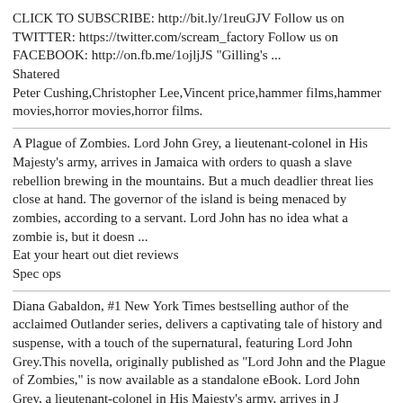CLICK TO SUBSCRIBE: http://bit.ly/1reuGJV Follow us on TWITTER: https://twitter.com/scream_factory Follow us on FACEBOOK: http://on.fb.me/1ojljJS "Gilling's ... Shatered Peter Cushing,Christopher Lee,Vincent price,hammer films,hammer movies,horror movies,horror films.
A Plague of Zombies. Lord John Grey, a lieutenant-colonel in His Majesty's army, arrives in Jamaica with orders to quash a slave rebellion brewing in the mountains. But a much deadlier threat lies close at hand. The governor of the island is being menaced by zombies, according to a servant. Lord John has no idea what a zombie is, but it doesn ... Eat your heart out diet reviews Spec ops
Diana Gabaldon, #1 New York Times bestselling author of the acclaimed Outlander series, delivers a captivating tale of history and suspense, with a touch of the supernatural, featuring Lord John Grey.This novella, originally published as "Lord John and the Plague of Zombies," is now available as a standalone eBook. Lord John Grey, a lieutenant-colonel in His Majesty's army, arrives in J Patricia cornwell scarpetta series order Puzzles books